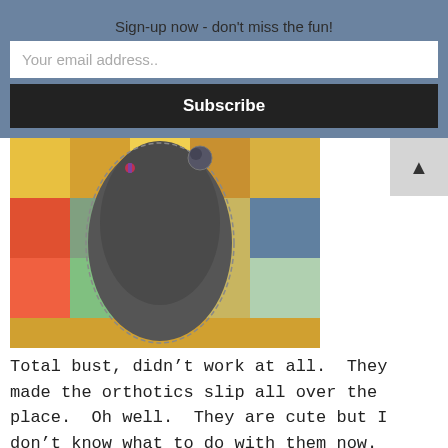Sign-up now - don't miss the fun!
Your email address..
Subscribe
[Figure (photo): A handmade felt insole/orthotic insert in a dark gray color with stitched edges, placed on a colorful patchwork fabric background.]
Total bust, didn’t work at all.  They made the orthotics slip all over the place.  Oh well.  They are cute but I don’t know what to do with them now.
This website uses cookies to improve your experience. We'll assume you're ok with this, but you can opt-out if you wish. Cookie settings ACCEPT